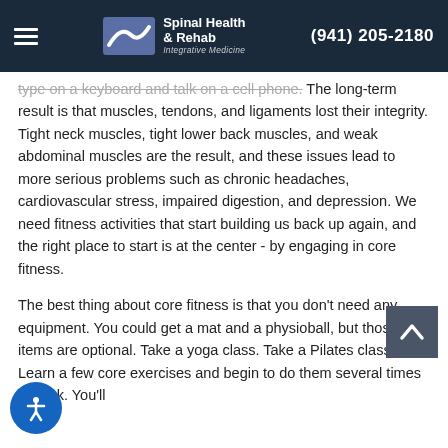Spinal Health & Rehab Integrative Medicine | (941) 205-2180
type on a keyboard and talk on a cell phone. The long-term result is that muscles, tendons, and ligaments lost their integrity. Tight neck muscles, tight lower back muscles, and weak abdominal muscles are the result, and these issues lead to more serious problems such as chronic headaches, cardiovascular stress, impaired digestion, and depression. We need fitness activities that start building us back up again, and the right place to start is at the center - by engaging in core fitness.
The best thing about core fitness is that you don't need any equipment. You could get a mat and a physioball, but those items are optional. Take a yoga class. Take a Pilates class. Learn a few core exercises and begin to do them several times a week. You'll